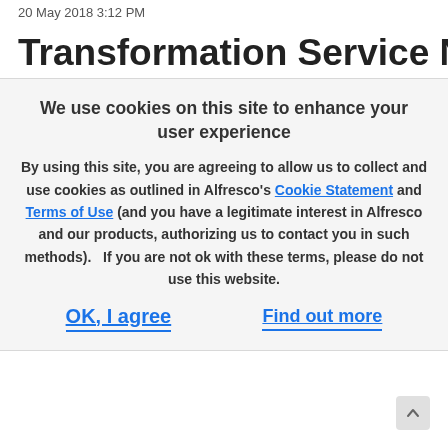20 May 2018 3:12 PM
Transformation Service Not :
We use cookies on this site to enhance your user experience

By using this site, you are agreeing to allow us to collect and use cookies as outlined in Alfresco’s Cookie Statement and Terms of Use (and you have a legitimate interest in Alfresco and our products, authorizing us to contact you in such methods).   If you are not ok with these terms, please do not use this website.

OK, I agree    Find out more
some of the changes/coming
global-properties

index.subsystem.name=solr6

solr.host=localhost

solr.port=8080